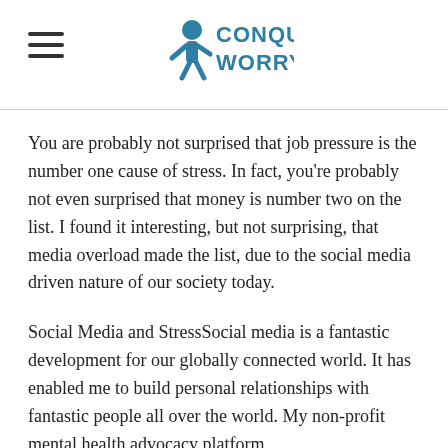Conquer Worry
You are probably not surprised that job pressure is the number one cause of stress. In fact, you're probably not even surprised that money is number two on the list. I found it interesting, but not surprising, that media overload made the list, due to the social media driven nature of our society today.
Social Media and StressSocial media is a fantastic development for our globally connected world. It has enabled me to build personal relationships with fantastic people all over the world. My non-profit mental health advocacy platform ConquerWorry.org™ and our podcast, "The ConquerWorry™ Show" would not have come into existence without the leverage